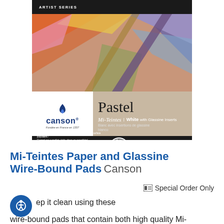[Figure (photo): Canson Artist Series Mi-Teintes Pastel Paper Wire-Bound Pad product image. Shows colorful pastel artwork at top, Canson logo on white block at lower left, 'Pastel' text in large serif font on tan background, Mi-Teintes branding with White Glassine Inserts subtitle, and black specs bar at bottom showing 16 sheets, 9x12 inches (22.9x30.5cm), 98 LB / 160G.]
Mi-Teintes Paper and Glassine Wire-Bound Pads Canson
Special Order Only
ep it clean using these
wire-bound pads that contain both high quality Mi-